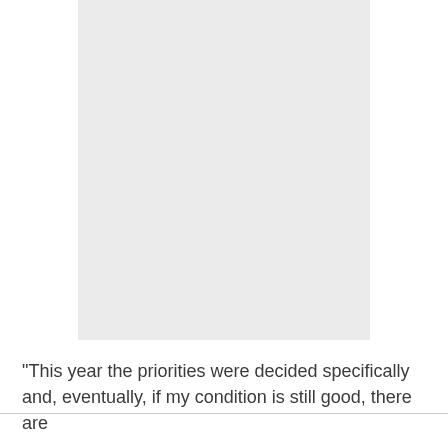[Figure (other): A large light gray rectangular placeholder image area]
"This year the priorities were decided specifically and, eventually, if my condition is still good, there are